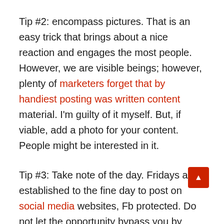Tip #2: encompass pictures. That is an easy trick that brings about a nice reaction and engages the most people. However, we are visible beings; however, plenty of marketers forget that by handiest posting was written content material. I'm guilty of it myself. But, if viable, add a photo for your content. People might be interested in it.
Tip #3: Take note of the day. Fridays are established to the fine day to post on social media websites, Fb protected. Do not let the opportunity bypass you by using it to grab the interest out of your enthusiasts.
Tip #4: Ask questions. Facebook and Different sites find it irresistible is all about engagement. Humans need to feel like they are a part of a network. Also, People love to speak about themselves. Ask a simple query that they